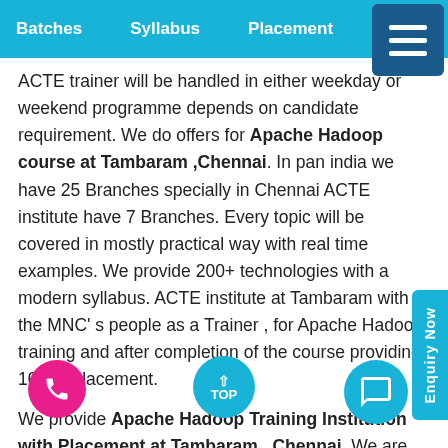Batches   Syllabus   Placement   La...
ACTE trainer will be handled in either weekday or weekend programme depends on candidate requirement. We do offers for Apache Hadoop course at Tambaram ,Chennai. In pan india we have 25 Branches specially in Chennai ACTE institute have 7 Branches. Every topic will be covered in mostly practical way with real time examples. We provide 200+ technologies with a modern syllabus. ACTE institute at Tambaram with the MNC' s people as a Trainer , for Apache Hadoop training and after completion of the course providing 100 % placement.
We provide Apache Hadoop Training Institution with Placement at Tambaram , Chennai. We are one the best provider of Apache Hadoop online Training in Tambaram ,Chennai. With real time example and practiced by industry professionals. ACTE training programme is very much mixed both practical and interview preparation of